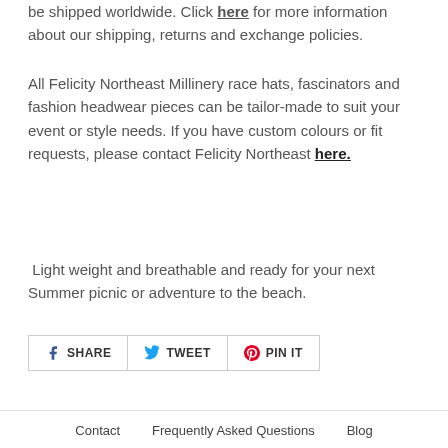be shipped worldwide. Click here for more information about our shipping, returns and exchange policies.
All Felicity Northeast Millinery race hats, fascinators and fashion headwear pieces can be tailor-made to suit your event or style needs. If you have custom colours or fit requests, please contact Felicity Northeast here.
Light weight and breathable and ready for your next Summer picnic or adventure to the beach.
[Figure (other): Social share buttons: SHARE (Facebook), TWEET (Twitter), PIN IT (Pinterest)]
Contact   Frequently Asked Questions   Blog